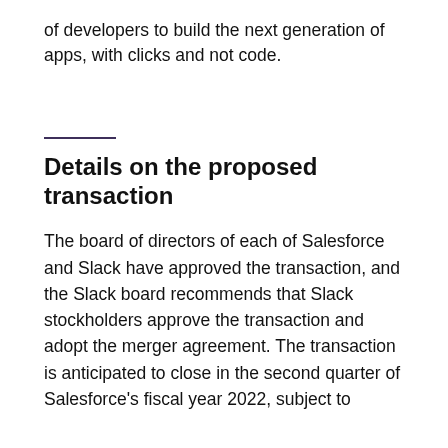of developers to build the next generation of apps, with clicks and not code.
Details on the proposed transaction
The board of directors of each of Salesforce and Slack have approved the transaction, and the Slack board recommends that Slack stockholders approve the transaction and adopt the merger agreement. The transaction is anticipated to close in the second quarter of Salesforce's fiscal year 2022, subject to